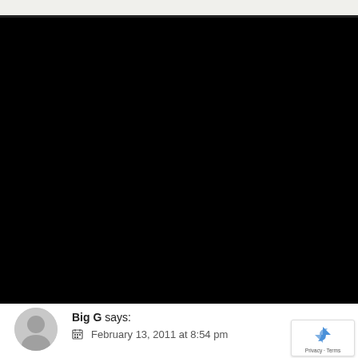[Figure (screenshot): Screenshot of a webpage showing a black video/media embed area at the top, followed by a comment section. The comment section shows a grey avatar placeholder, with commenter name 'Big G says:' and date 'February 13, 2011 at 8:54 pm'. A reCAPTCHA badge is visible in the bottom right.]
Big G says:
February 13, 2011 at 8:54 pm